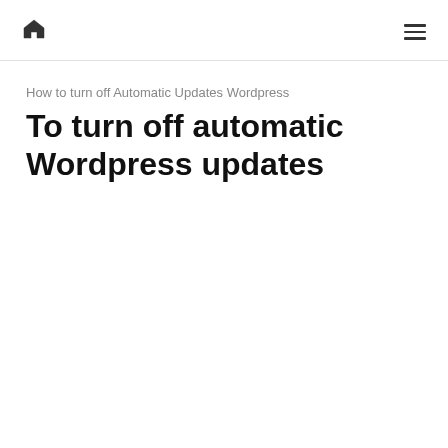🏠  ≡
How to turn off Automatic Updates Wordpress
To turn off automatic Wordpress updates